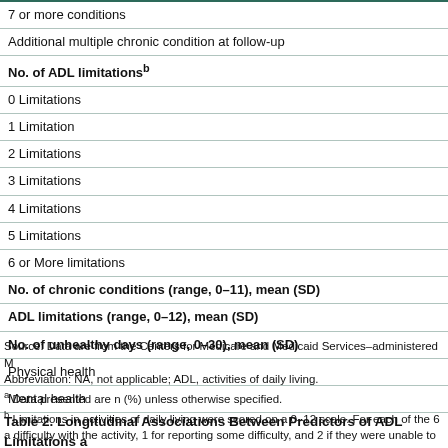| Variable |
| --- |
| 7 or more conditions |
| Additional multiple chronic condition at follow-up |
| No. of ADL limitationsᵇ |
| 0 Limitations |
| 1 Limitation |
| 2 Limitations |
| 3 Limitations |
| 4 Limitations |
| 5 Limitations |
| 6 or More limitations |
| No. of chronic conditions (range, 0–11), mean (SD) |
| ADL limitations (range, 0–12), mean (SD) |
| No. of unhealthy days (range, 0–30), mean (SD) |
| Physical health |
| Mental health |
Source: Data are from the Centers for Medicare and Medicaid Services–administered M
Abbreviation: NA, not applicable; ADL, activities of daily living.
a Data presented are n (%) unless otherwise specified.
b Limitations in activities of daily living were scored on a 0–12 scale. For each of the 6 a difficulty with the activity, 1 for reporting some difficulty, and 2 if they were unable to do t
Table 2. Longitudinal Associations Between Predictors of ADL Limitations a Chronic Conditions at Follow-up (N = 37,034)